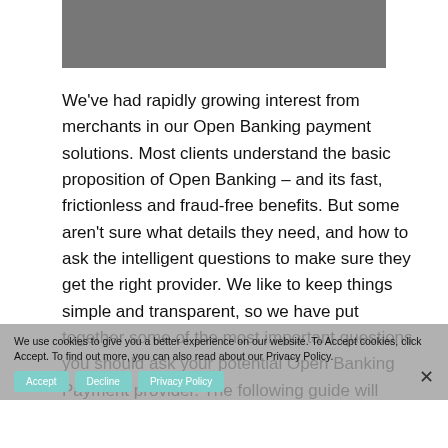[Figure (photo): Partial photo of a person, cropped at top of page, dark tones]
We've had rapidly growing interest from merchants in our Open Banking payment solutions. Most clients understand the basic proposition of Open Banking – and its fast, frictionless and fraud-free benefits. But some aren't sure what details they need, and how to ask the intelligent questions to make sure they get the right provider. We like to keep things simple and transparent, so we have put together some of the most important questions you should ask your potential Open Banking Payment provider. The following guide will